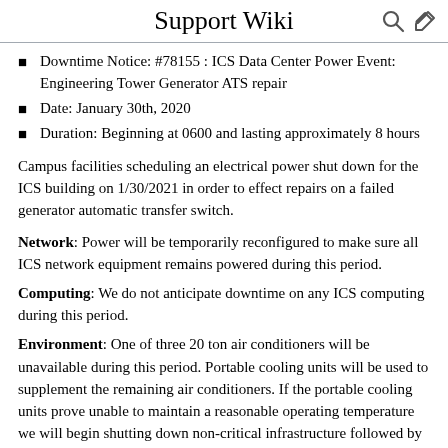Support Wiki
Downtime Notice: #78155 : ICS Data Center Power Event: Engineering Tower Generator ATS repair
Date: January 30th, 2020
Duration: Beginning at 0600 and lasting approximately 8 hours
Campus facilities scheduling an electrical power shut down for the ICS building on 1/30/2021 in order to effect repairs on a failed generator automatic transfer switch.
Network: Power will be temporarily reconfigured to make sure all ICS network equipment remains powered during this period.
Computing: We do not anticipate downtime on any ICS computing during this period.
Environment: One of three 20 ton air conditioners will be unavailable during this period. Portable cooling units will be used to supplement the remaining air conditioners. If the portable cooling units prove unable to maintain a reasonable operating temperature we will begin shutting down non-critical infrastructure followed by hosts generated the greatest amount of heat (e.g. GPU clusters).